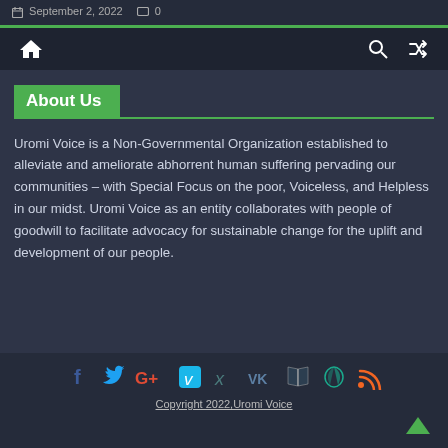September 2, 2022  0
[Figure (screenshot): Navigation bar with home icon, search icon, and shuffle icon on dark background]
About Us
Uromi Voice is a Non-Governmental Organization established to alleviate and ameliorate abhorrent human suffering pervading our communities – with Special Focus on the poor, Voiceless, and Helpless in our midst. Uromi Voice as an entity collaborates with people of goodwill to facilitate advocacy for sustainable change for the uplift and development of our people.
[Figure (screenshot): Social media icons row: Facebook, Twitter, Google+, Vimeo, XING, VK, open book, peace symbol, RSS feed]
Copyright 2022,Uromi Voice